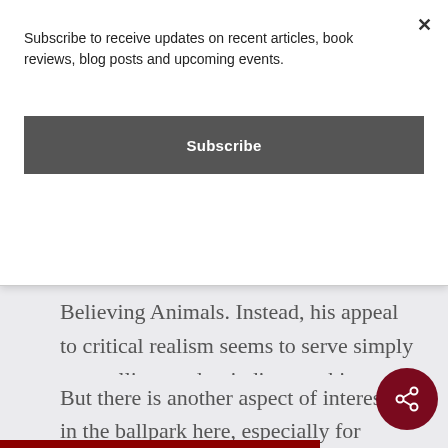Subscribe to receive updates on recent articles, book reviews, blog posts and upcoming events.
Subscribe
Believing Animals. Instead, his appeal to critical realism seems to serve simply as a calling card to indicate to his colleagues that, though he is a nonfoundationalist, he is not a relativist.42
But there is another aspect of interest in the ballpark here, especially for